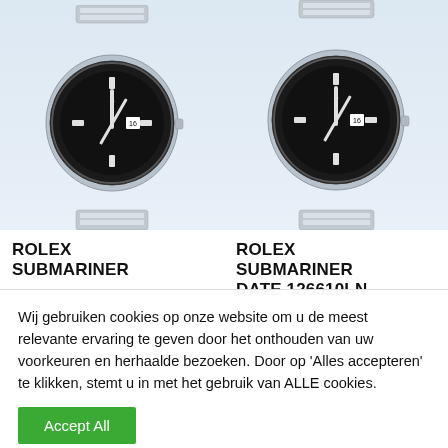[Figure (photo): Rolex Submariner watch with black dial and bezel, stainless steel bracelet, on light blue background]
[Figure (photo): Rolex Submariner Date 126610LN watch with black dial and bezel, stainless steel bracelet, on light blue background]
ROLEX SUBMARINER
ROLEX SUBMARINER DATE 126610LN
Wij gebruiken cookies op onze website om u de meest relevante ervaring te geven door het onthouden van uw voorkeuren en herhaalde bezoeken. Door op 'Alles accepteren' te klikken, stemt u in met het gebruik van ALLE cookies.
Accept All